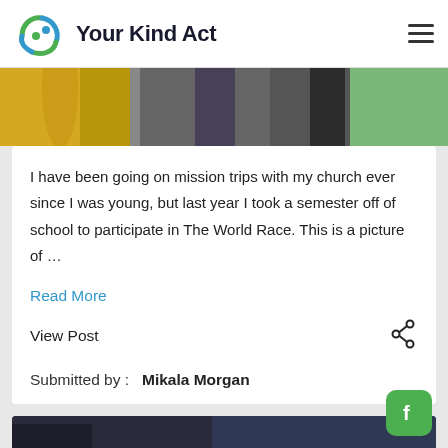Your Kind Act
[Figure (photo): Top strip showing people's lower bodies, one in yellow dress, one in dark skirt, one in black shorts, outdoor setting]
I have been going on mission trips with my church ever since I was young, but last year I took a semester off of school to participate in The World Race. This is a picture of …
Read More
View Post
Submitted by :   Mikala Morgan
[Figure (photo): Bottom photo partially visible, dark tones, appears to show people outdoors]